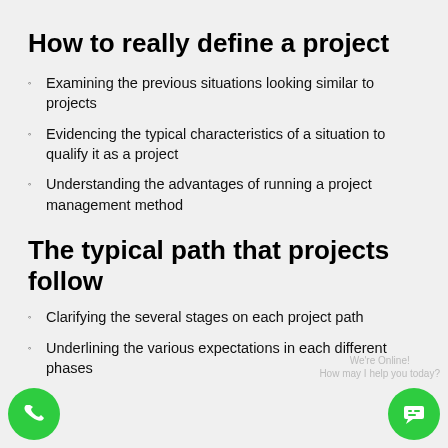How to really define a project
Examining the previous situations looking similar to projects
Evidencing the typical characteristics of a situation to qualify it as a project
Understanding the advantages of running a project management method
The typical path that projects follow
Clarifying the several stages on each project path
Underlining the various expectations in each different phases